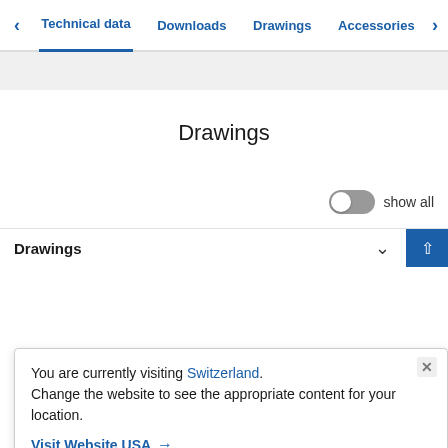Technical data | Downloads | Drawings | Accessories
Drawings
show all
Drawings
You are currently visiting Switzerland.
Change the website to see the appropriate content for your location.
Visit Website USA →
Accessories